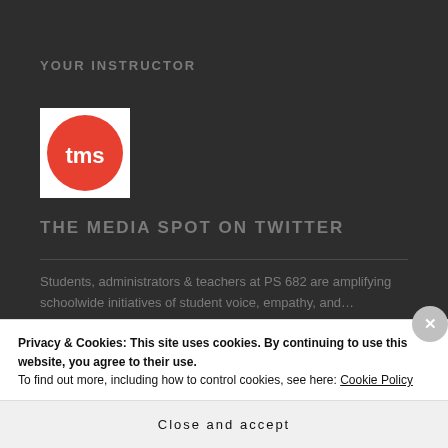YOUR INSTRUCTOR
[Figure (logo): The Media Spot logo — red circle with white TMS text on white square background]
THE MEDIA SPOT ON TWITTER
Students, administrators & teachers at PS 682 are amplifying schoolwide initiatives of student voice, empathy, and… twitter.com/iAweb/status/1
Privacy & Cookies: This site uses cookies. By continuing to use this website, you agree to their use.
To find out more, including how to control cookies, see here: Cookie Policy
Close and accept